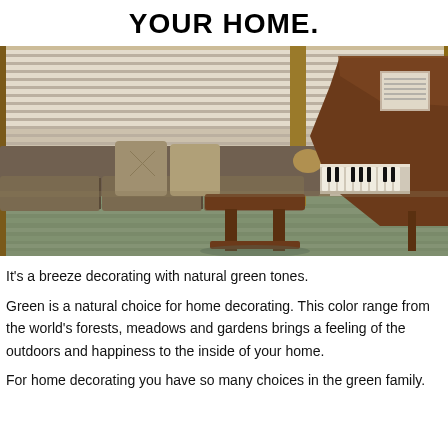YOUR HOME.
[Figure (photo): Interior room with a grand piano, a built-in bench sofa with cushions and pillows, large windows with horizontal blinds letting in natural light, hardwood floor, and a wooden piano bench in the foreground.]
It's a breeze decorating with natural green tones.
Green is a natural choice for home decorating. This color range from the world's forests, meadows and gardens brings a feeling of the outdoors and happiness to the inside of your home.
For home decorating you have so many choices in the green family.